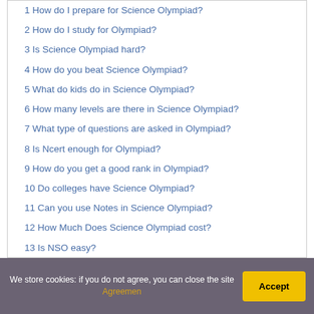1 How do I prepare for Science Olympiad?
2 How do I study for Olympiad?
3 Is Science Olympiad hard?
4 How do you beat Science Olympiad?
5 What do kids do in Science Olympiad?
6 How many levels are there in Science Olympiad?
7 What type of questions are asked in Olympiad?
8 Is Ncert enough for Olympiad?
9 How do you get a good rank in Olympiad?
10 Do colleges have Science Olympiad?
11 Can you use Notes in Science Olympiad?
12 How Much Does Science Olympiad cost?
13 Is NSO easy?
14 When should I start preparing for Olympiad?
We store cookies: if you do not agree, you can close the site Agreemen